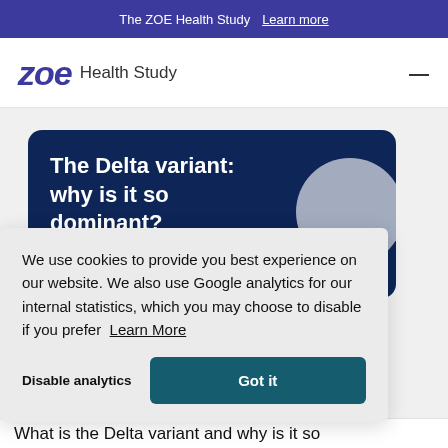The ZOE Health Study  Learn more
[Figure (logo): ZOE Health Study logo with italic bold ZOE text and hamburger menu icon]
The Delta variant: why is it so dominant?
We use cookies to provide you best experience on our website. We also use Google analytics for our internal statistics, which you may choose to disable if you prefer  Learn More
Disable analytics   Got it
What is the Delta variant and why is it so